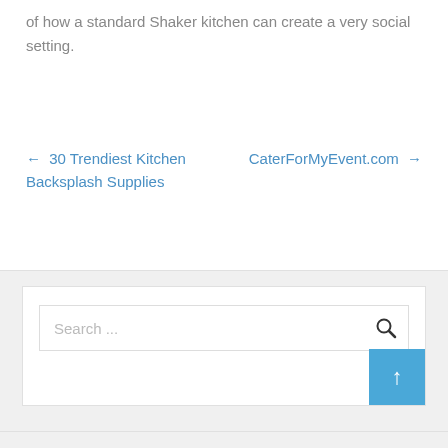of how a standard Shaker kitchen can create a very social setting.
← 30 Trendiest Kitchen Backsplash Supplies
CaterForMyEvent.com →
[Figure (screenshot): Search bar with magnifying glass icon and blue scroll-to-top button]
Search ...